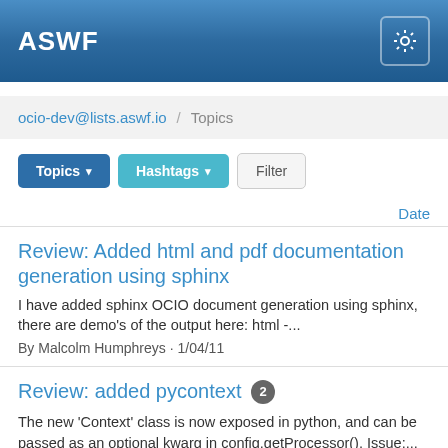ASWF
ocio-dev@lists.aswf.io / Topics
Topics ▾   Hashtags ▾   Filter
Date
Review: Added html and pdf documentation generation using sphinx
I have added sphinx OCIO document generation using sphinx, there are demo's of the output here: html -...
By Malcolm Humphreys · 1/04/11
Review: added pycontext 2
The new 'Context' class is now exposed in python, and can be passed as an optional kwarg in config.getProcessor(). Issue:...